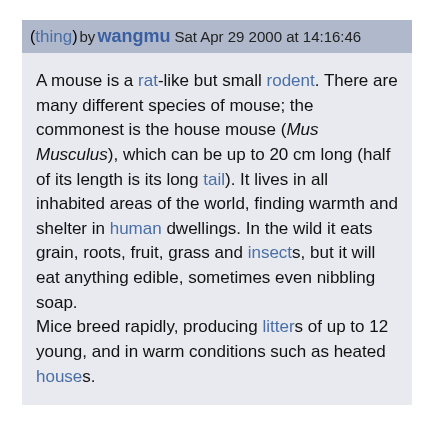(thing) by wangmu Sat Apr 29 2000 at 14:16:46
A mouse is a rat-like but small rodent. There are many different species of mouse; the commonest is the house mouse (Mus Musculus), which can be up to 20 cm long (half of its length is its long tail). It lives in all inhabited areas of the world, finding warmth and shelter in human dwellings. In the wild it eats grain, roots, fruit, grass and insects, but it will eat anything edible, sometimes even nibbling soap.
Mice breed rapidly, producing litters of up to 12 young, and in warm conditions such as heated houses.